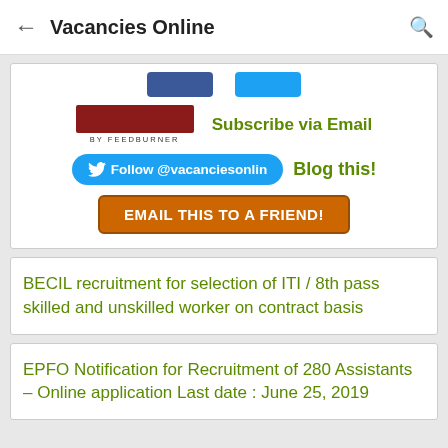Vacancies Online
[Figure (screenshot): Social sharing widget with FeedBurner subscription box, Subscribe via Email text, Follow @vacanciesonlin Twitter button, Blog this! link, and EMAIL THIS TO A FRIEND! orange button]
BECIL recruitment for selection of ITI / 8th pass skilled and unskilled worker on contract basis
EPFO Notification for Recruitment of 280 Assistants – Online application Last date : June 25, 2019